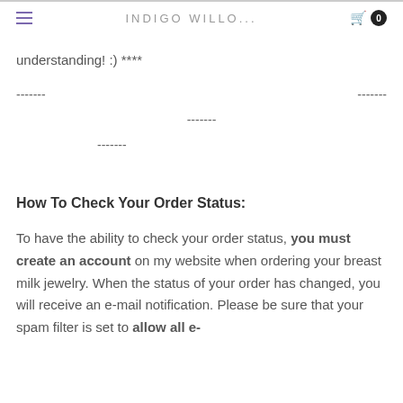INDIGO WILLO...
understanding! :) ****
-------                                                                  -------
-------
-------
How To Check Your Order Status:
To have the ability to check your order status, you must create an account on my website when ordering your breast milk jewelry. When the status of your order has changed, you will receive an e-mail notification. Please be sure that your spam filter is set to allow all e-